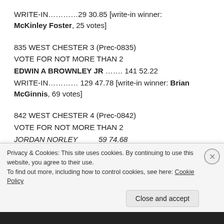WRITE-IN………… 29 30.85 [write-in winner: McKinley Foster, 25 votes]
835 WEST CHESTER 3 (Prec-0835)
VOTE FOR NOT MORE THAN 2
EDWIN A BROWNLEY JR ……. 141 52.22
WRITE-IN………… 129 47.78 [write-in winner: Brian McGinnis, 69 votes]
842 WEST CHESTER 4 (Prec-0842)
VOTE FOR NOT MORE THAN 2
JORDAN NORLEY          59 74.68
Privacy & Cookies: This site uses cookies. By continuing to use this website, you agree to their use. To find out more, including how to control cookies, see here: Cookie Policy
Close and accept